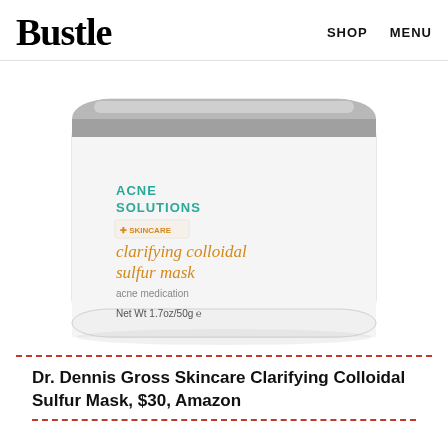Bustle  SHOP  MENU
[Figure (photo): Dr. Dennis Gross Skincare Clarifying Colloidal Sulfur Mask product jar. White round jar with silver lid. Label shows 'ACNE SOLUTIONS', orange cross with 'SKINCARE' badge, 'clarifying colloidal sulfur mask' in orange text, 'acne medication', 'Net Wt 1.7oz/50g', and 'Dr Dennis Gross' in orange text on the side.]
Dr. Dennis Gross Skincare Clarifying Colloidal Sulfur Mask, $30, Amazon